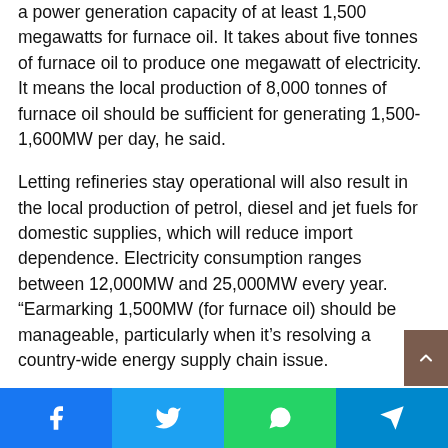a power generation capacity of at least 1,500 megawatts for furnace oil. It takes about five tonnes of furnace oil to produce one megawatt of electricity. It means the local production of 8,000 tonnes of furnace oil should be sufficient for generating 1,500-1,600MW per day, he said.
Letting refineries stay operational will also result in the local production of petrol, diesel and jet fuels for domestic supplies, which will reduce import dependence. Electricity consumption ranges between 12,000MW and 25,000MW every year. “Earmarking 1,500MW (for furnace oil) should be manageable, particularly when it’s resolving a country-wide energy supply chain issue.
[Figure (other): Social sharing bar with Facebook, Twitter, WhatsApp, and Telegram buttons]